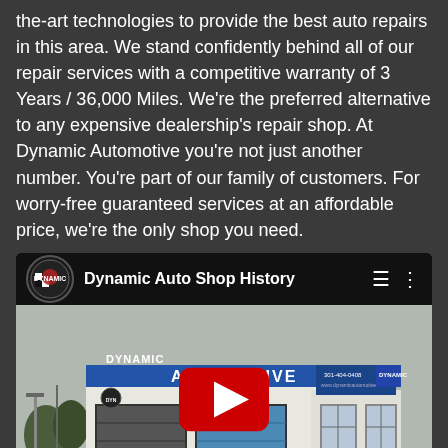the-art technologies to provide the best auto repairs in this area. We stand confidently behind all of our repair services with a competitive warranty of 3 Years / 36,000 Miles. We're the preferred alternative to any expensive dealership's repair shop. At Dynamic Automotive you're not just another number. You're part of our family of customers. For worry-free guaranteed services at an affordable price, we're the only shop you need.
[Figure (screenshot): YouTube video thumbnail/player showing 'Dynamic Auto Shop History' with a photo of Dynamic Automotive building in New Market, with a YouTube play button overlay and bottom bar showing 'Dynamic Automotive - New Mar...' and YouTube logo.]